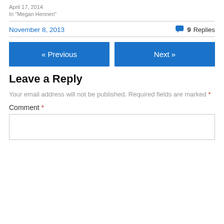April 17, 2014
In "Megan Hennen"
November 8, 2013
9 Replies
« Previous
Next »
Leave a Reply
Your email address will not be published. Required fields are marked *
Comment *